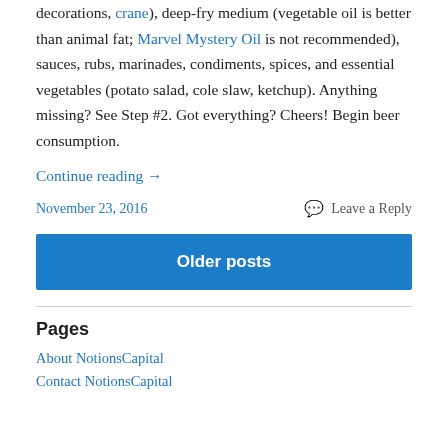decorations, crane), deep-fry medium (vegetable oil is better than animal fat; Marvel Mystery Oil is not recommended), sauces, rubs, marinades, condiments, spices, and essential vegetables (potato salad, cole slaw, ketchup). Anything missing? See Step #2. Got everything? Cheers! Begin beer consumption.
Continue reading →
November 23, 2016
Leave a Reply
Older posts
Pages
About NotionsCapital
Contact NotionsCapital